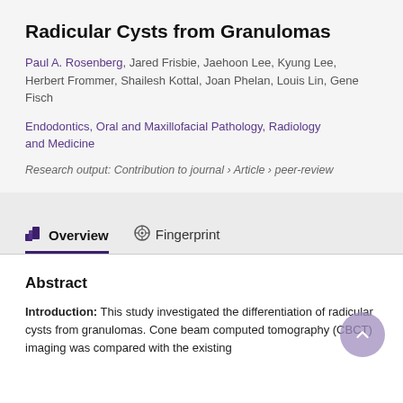Radicular Cysts from Granulomas
Paul A. Rosenberg, Jared Frisbie, Jaehoon Lee, Kyung Lee, Herbert Frommer, Shailesh Kottal, Joan Phelan, Louis Lin, Gene Fisch
Endodontics, Oral and Maxillofacial Pathology, Radiology and Medicine
Research output: Contribution to journal › Article › peer-review
Overview
Fingerprint
Abstract
Introduction: This study investigated the differentiation of radicular cysts from granulomas. Cone beam computed tomography (CBCT) imaging was compared with the existing